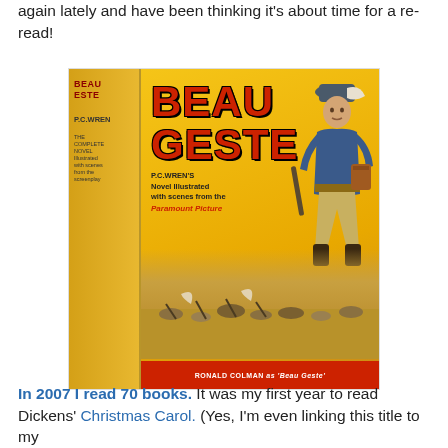again lately and have been thinking it's about time for a re-read!
[Figure (photo): Book cover of 'Beau Geste' by P.C. Wren, showing a French Foreign Legion soldier in blue uniform standing tall, with battle scenes in the background. The cover is yellow/gold with red lettering. The spine reads 'BEAU GESTE / P.C.WREN'. A red banner at the bottom reads 'RONALD COLMAN as Beau Geste'. Subtitle reads 'P.C.WREN'S Novel Illustrated with scenes from the Paramount Picture'.]
In 2007 I read 70 books. It was my first year to read Dickens' Christmas Carol. (Yes, I'm even linking this title to my